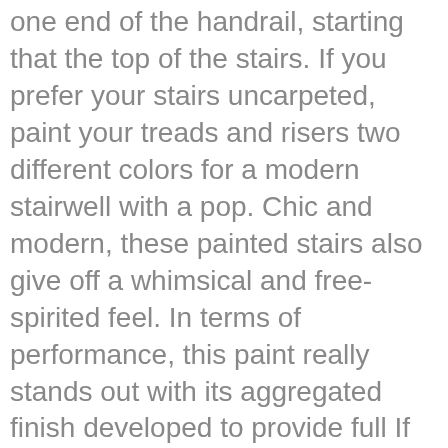one end of the handrail, starting that the top of the stairs. If you prefer your stairs uncarpeted, paint your treads and risers two different colors for a modern stairwell with a pop. Chic and modern, these painted stairs also give off a whimsical and free-spirited feel. In terms of performance, this paint really stands out with its aggregated finish developed to provide full If using a lighter color, you'll likely need two-three coats. This project was very easy and only cost us about $112.00! Walls, treads, risers, posts, balusters, ceiling, spindles 5, and handrails may or may not be present on the stairway., and … Some times ago, we have collected photos to imagine you, we found these are very cool pictures. See online. Wait 6-8 hours before applying a second coat of Dulux wood paint. In about 30 minutes it was ready for the next step. If you think your staircase is simply a tool to get from one story to the other, you're missing out on a great decorating opportunity. You